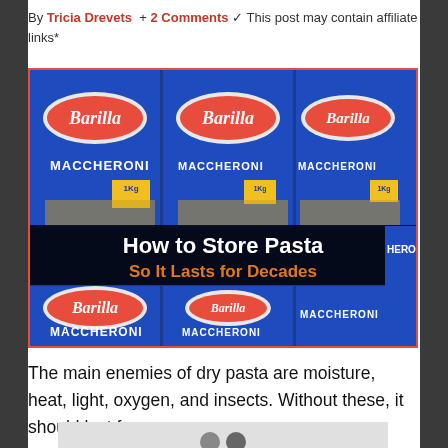By Tricia Drevets + 2 Comments ✓ This post may contain affiliate links*
[Figure (photo): Multiple blue Barilla Maccheroni pasta boxes stacked, with overlaid text 'How to Store Pasta' in white and 'So It Lasts for Decades' in orange]
The main enemies of dry pasta are moisture, heat, light, oxygen, and insects. Without these, it should last for many years.
[Figure (photo): Partial image at bottom of page, mostly light gray with two dark circular shapes visible at top]